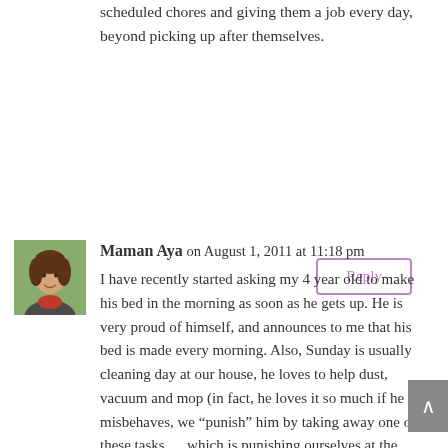scheduled chores and giving them a job every day, beyond picking up after themselves.
Reply
Maman Aya on August 1, 2011 at 11:18 pm
I have recently started asking my 4 year old to make his bed in the morning as soon as he gets up. He is very proud of himself, and announces to me that his bed is made every morning. Also, Sunday is usually cleaning day at our house, he loves to help dust, vacuum and mop (in fact, he loves it so much if he misbehaves, we “punish” him by taking away one of these tasks…. which is punishing ourselves at the same time). I am hoping that he will grow up not minding to clean, since we make it a fun activity that we do together, and